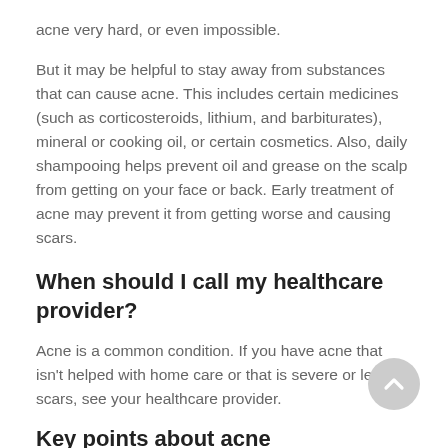acne very hard, or even impossible.
But it may be helpful to stay away from substances that can cause acne. This includes certain medicines (such as corticosteroids, lithium, and barbiturates), mineral or cooking oil, or certain cosmetics. Also, daily shampooing helps prevent oil and grease on the scalp from getting on your face or back. Early treatment of acne may prevent it from getting worse and causing scars.
When should I call my healthcare provider?
Acne is a common condition. If you have acne that isn't helped with home care or that is severe or leaving scars, see your healthcare provider.
Key points about acne